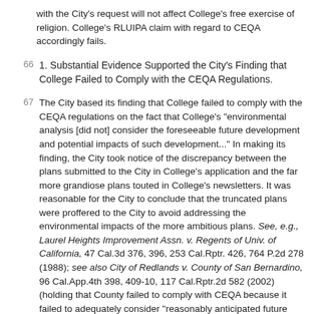with the City's request will not affect College's free exercise of religion. College's RLUIPA claim with regard to CEQA accordingly fails.
1. Substantial Evidence Supported the City's Finding that College Failed to Comply with the CEQA Regulations.
The City based its finding that College failed to comply with the CEQA regulations on the fact that College's "environmental analysis [did not] consider the foreseeable future development and potential impacts of such development..." In making its finding, the City took notice of the discrepancy between the plans submitted to the City in College's application and the far more grandiose plans touted in College's newsletters. It was reasonable for the City to conclude that the truncated plans were proffered to the City to avoid addressing the environmental impacts of the more ambitious plans. See, e.g., Laurel Heights Improvement Assn. v. Regents of Univ. of California, 47 Cal.3d 376, 396, 253 Cal.Rptr. 426, 764 P.2d 278 (1988); see also City of Redlands v. County of San Bernardino, 96 Cal.App.4th 398, 409-10, 117 Cal.Rptr.2d 582 (2002) (holding that County failed to comply with CEQA because it failed to adequately consider "reasonably anticipated future development").